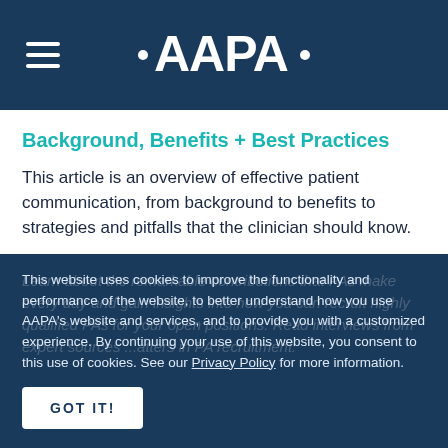AAPA
Background, Benefits + Best Practices
This article is an overview of effective patient communication, from background to benefits to strategies and pitfalls that the clinician should know.
This website uses cookies to improve the functionality and performance of the website, to better understand how you use AAPA's website and services, and to provide you with a customized experience. By continuing your use of this website, you consent to this use of cookies. See our Privacy Policy for more information.
GOT IT!